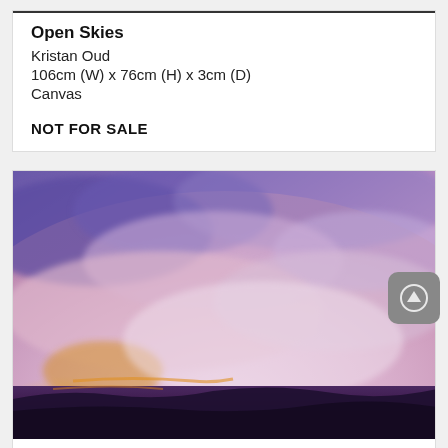Open Skies
Kristan Oud
106cm (W) x 76cm (H) x 3cm (D)
Canvas
NOT FOR SALE
[Figure (photo): Abstract painting of a dramatic sunset sky with swirling purple, pink, blue and orange clouds over a dark landscape horizon.]
Gelati Sun Day